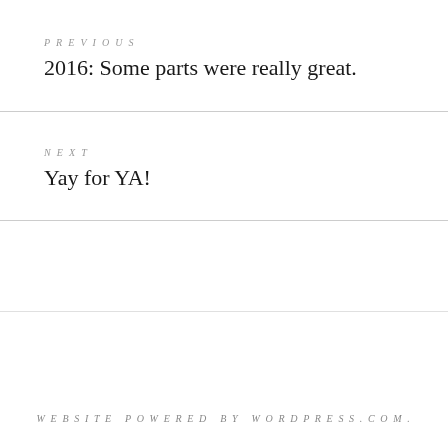PREVIOUS
2016: Some parts were really great.
NEXT
Yay for YA!
WEBSITE POWERED BY WORDPRESS.COM.